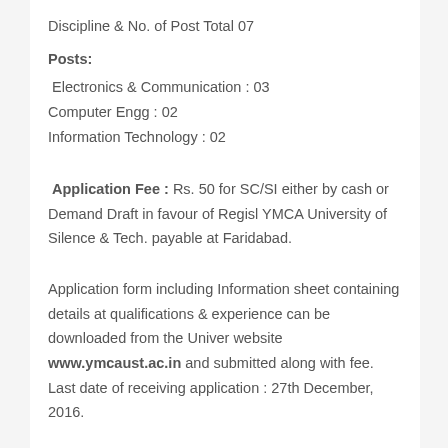Discipline & No. of Post Total 07
Posts:
Electronics & Communication : 03
Computer Engg : 02
Information Technology : 02
Application Fee : Rs. 50 for SC/SI either by cash or Demand Draft in favour of Regisl YMCA University of Silence & Tech. payable at Faridabad.
Application form including Information sheet containing details at qualifications & experience can be downloaded from the Univer website www.ymcaust.ac.in and submitted along with fee. Last date of receiving application : 27th December, 2016.
Apply